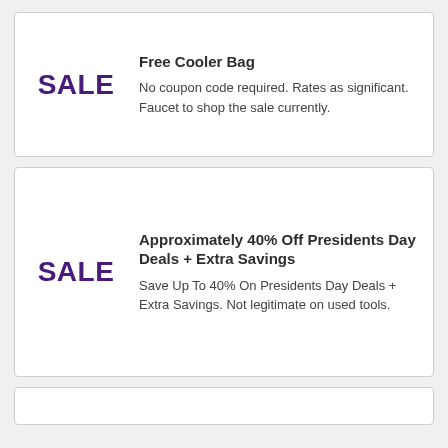Free Cooler Bag
No coupon code required. Rates as significant. Faucet to shop the sale currently.
Approximately 40% Off Presidents Day Deals + Extra Savings
Save Up To 40% On Presidents Day Deals + Extra Savings. Not legitimate on used tools.